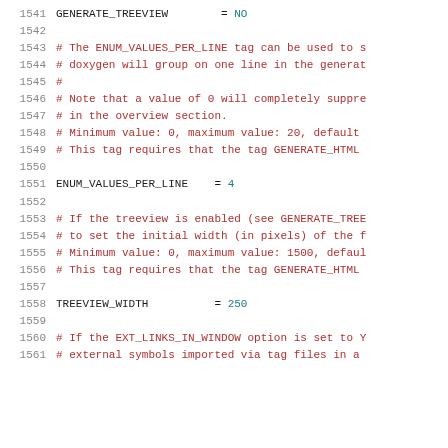1541    GENERATE_TREEVIEW        = NO
1542
1543    # The ENUM_VALUES_PER_LINE tag can be used to s
1544    # doxygen will group on one line in the generat
1545    #
1546    # Note that a value of 0 will completely suppre
1547    # in the overview section.
1548    # Minimum value: 0, maximum value: 20, default
1549    # This tag requires that the tag GENERATE_HTML
1550
1551    ENUM_VALUES_PER_LINE    = 4
1552
1553    # If the treeview is enabled (see GENERATE_TREE
1554    # to set the initial width (in pixels) of the f
1555    # Minimum value: 0, maximum value: 1500, defaul
1556    # This tag requires that the tag GENERATE_HTML
1557
1558    TREEVIEW_WIDTH          = 250
1559
1560    # If the EXT_LINKS_IN_WINDOW option is set to Y
1561    # external symbols imported via tag files in a